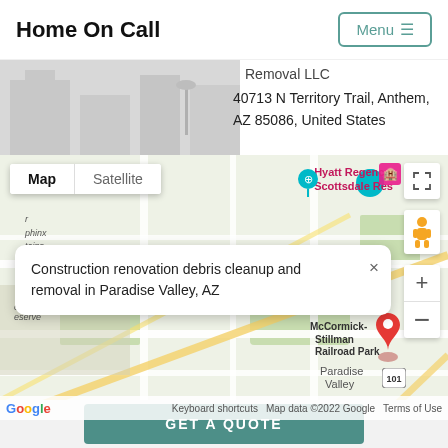Home On Call
Removal LLC
40713 N Territory Trail, Anthem, AZ 85086, United States
[Figure (map): Google Map showing Paradise Valley, AZ with a red pin marker and a popup info window reading 'Construction renovation debris cleanup and removal in Paradise Valley, AZ'. Map includes Hyatt Regency Scottsdale, McCormick-Stillman Railroad Park labels. Map/Satellite toggle, zoom controls, Street View person icon, and fullscreen button visible.]
GET A QUOTE